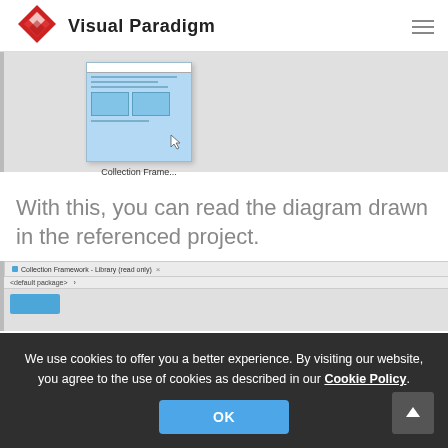[Figure (logo): Visual Paradigm logo with red diamond shape and company name]
[Figure (screenshot): Screenshot thumbnail of a Collection Framework diagram with label 'Collection Frame...']
With this, you can read the diagram drawn in the referenced project.
[Figure (screenshot): Screenshot of Collection Framework - Library (read only) diagram editor window]
We use cookies to offer you a better experience. By visiting our website, you agree to the use of cookies as described in our Cookie Policy.